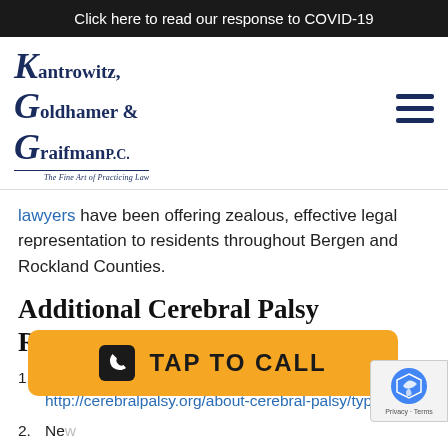Click here to read our response to COVID-19
[Figure (logo): Kantrowitz, Goldhamer & Graifman P.C. law firm logo with tagline 'The Fine Art of Practicing Law']
lawyers have been offering zealous, effective legal representation to residents throughout Bergen and Rockland Counties.
Additional Cerebral Palsy Resources:
CerebralPalsy.org: Types and Forms of Cerebral Palsy, http://cerebralpalsy.org/about-cerebral-palsy/types/
New... Neg...
New York Times: Cerebral Palsy...